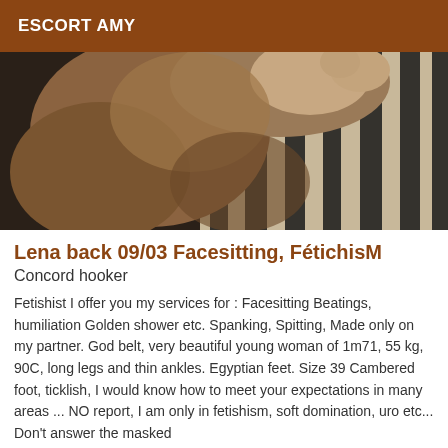ESCORT AMY
[Figure (photo): Close-up photo of feet/legs on a zebra-print fabric background]
Lena back 09/03 Facesitting, FétichisM
Concord hooker
Fetishist I offer you my services for : Facesitting Beatings, humiliation Golden shower etc. Spanking, Spitting, Made only on my partner. God belt, very beautiful young woman of 1m71, 55 kg, 90C, long legs and thin ankles. Egyptian feet. Size 39 Cambered foot, ticklish, I would know how to meet your expectations in many areas ... NO report, I am only in fetishism, soft domination, uro etc... Don't answer the masked